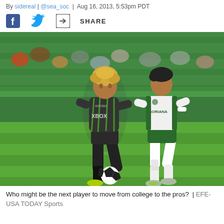By sidereal | @sea_soc | Aug 16, 2013, 5:53pm PDT
f [facebook] [twitter] [share] SHARE
[Figure (photo): Two soccer players on a green grass field. Left player in dark grey Seattle Sounders XBOX jersey with blonde curly hair dribbling the ball. Right player in white and green Santos Laguna jersey pursuing. Green stadium seats in background with crowd.]
Who might be the next player to move from college to the pros?  |  EFE-USA TODAY Sports